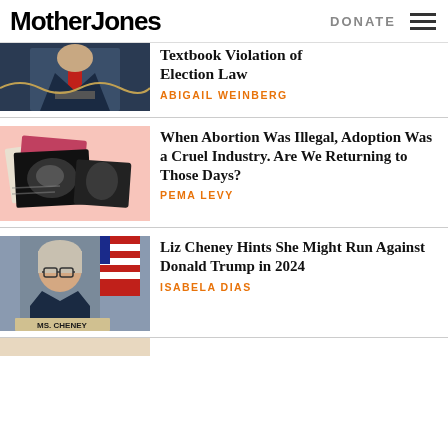Mother Jones | DONATE
[Figure (photo): Man in dark suit with red tie speaking at a podium]
Textbook Violation of Election Law
ABIGAIL WEINBERG
[Figure (photo): Collage with ultrasound images and adoption documents on pink background]
When Abortion Was Illegal, Adoption Was a Cruel Industry. Are We Returning to Those Days?
PEMA LEVY
[Figure (photo): Liz Cheney sitting at hearing desk with nameplate reading MS. CHENEY, American flag in background]
Liz Cheney Hints She Might Run Against Donald Trump in 2024
ISABELA DIAS